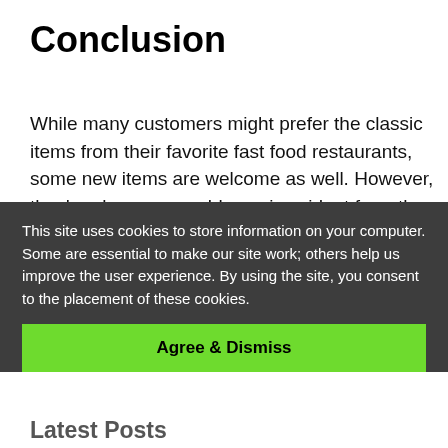Conclusion
While many customers might prefer the classic items from their favorite fast food restaurants, some new items are welcome as well. However, they’re always a gamble, as is evident from the entries above. This emphasizes the importance of surveys and customer feedback, as no amount of pushing will make a food item popular when it simply isn’t liked by the target audience. On the [obscured] d [obscured] such
This site uses cookies to store information on your computer. Some are essential to make our site work; others help us improve the user experience. By using the site, you consent to the placement of these cookies.
Agree & Dismiss
Latest Posts